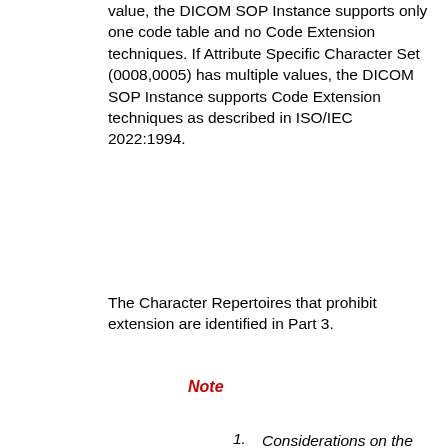value, the DICOM SOP Instance supports only one code table and no Code Extension techniques. If Attribute Specific Character Set (0008,0005) has multiple values, the DICOM SOP Instance supports Code Extension techniques as described in ISO/IEC 2022:1994.
The Character Repertoires that prohibit extension are identified in Part 3.
Note
Considerations on the Handling of Unsupported Character Sets:

In DICOM, character sets are not negotiated between Application Entities but are indicated by a conditional attribute of the SOP Common Module. Therefore, implementations may be confronted with character sets that are unknown to them.